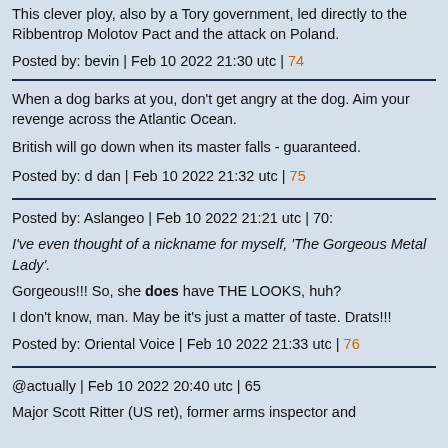This clever ploy, also by a Tory government, led directly to the Ribbentrop Molotov Pact and the attack on Poland.
Posted by: bevin | Feb 10 2022 21:30 utc | 74
When a dog barks at you, don't get angry at the dog. Aim your revenge across the Atlantic Ocean.
British will go down when its master falls - guaranteed.
Posted by: d dan | Feb 10 2022 21:32 utc | 75
Posted by: Aslangeo | Feb 10 2022 21:21 utc | 70:
I've even thought of a nickname for myself, 'The Gorgeous Metal Lady'.
Gorgeous!!! So, she does have THE LOOKS, huh?
I don't know, man. May be it's just a matter of taste. Drats!!!
Posted by: Oriental Voice | Feb 10 2022 21:33 utc | 76
@actually | Feb 10 2022 20:40 utc | 65
Major Scott Ritter (US ret), former arms inspector and